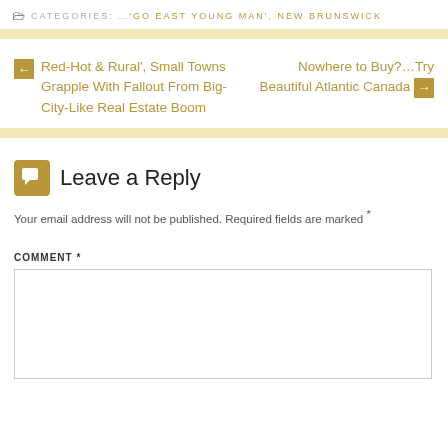CATEGORIES: …'GO EAST YOUNG MAN', NEW BRUNSWICK
← Red-Hot & Rural', Small Towns Grapple With Fallout From Big-City-Like Real Estate Boom
Nowhere to Buy?…Try Beautiful Atlantic Canada →
Leave a Reply
Your email address will not be published. Required fields are marked *
COMMENT *